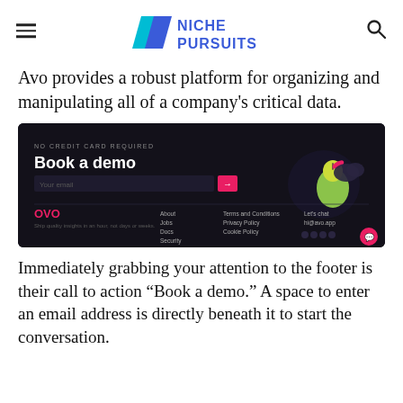Niche Pursuits
Avo provides a robust platform for organizing and manipulating all of a company's critical data.
[Figure (screenshot): Screenshot of the Avo (OVO) website footer showing a dark background with 'Book a demo' call to action, email input field, navigation links (About, Jobs, Docs, Security), legal links (Terms and Conditions, Privacy Policy, Cookie Policy), contact info (Let's chat, hi@avo.app), social icons, and a decorative 3D illustration of a pear character in the top right.]
Immediately grabbing your attention to the footer is their call to action “Book a demo.” A space to enter an email address is directly beneath it to start the conversation.